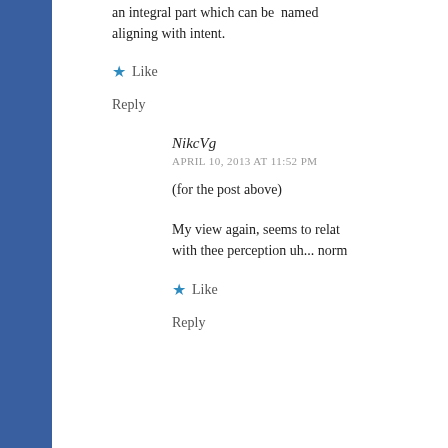an integral part which can be named aligning with intent.
★ Like
Reply
NikcVg
APRIL 10, 2013 AT 11:52 PM
(for the post above)
My view again, seems to relat with thee perception uh... norm
★ Like
Reply